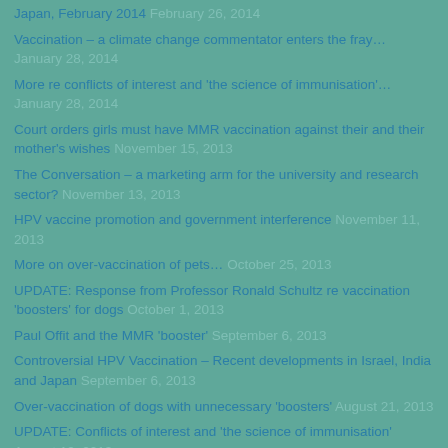Japan, February 2014 February 26, 2014
Vaccination – a climate change commentator enters the fray… January 28, 2014
More re conflicts of interest and 'the science of immunisation'… January 28, 2014
Court orders girls must have MMR vaccination against their and their mother's wishes November 15, 2013
The Conversation – a marketing arm for the university and research sector? November 13, 2013
HPV vaccine promotion and government interference November 11, 2013
More on over-vaccination of pets… October 25, 2013
UPDATE: Response from Professor Ronald Schultz re vaccination 'boosters' for dogs October 1, 2013
Paul Offit and the MMR 'booster' September 6, 2013
Controversial HPV Vaccination – Recent developments in Israel, India and Japan September 6, 2013
Over-vaccination of dogs with unnecessary 'boosters' August 21, 2013
UPDATE: Conflicts of interest and 'the science of immunisation' August 19, 2013